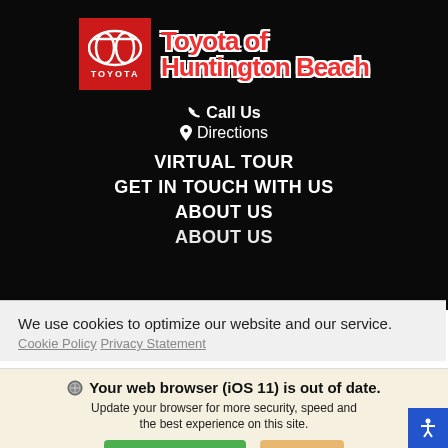[Figure (logo): Toyota of Huntington Beach logo — Toyota red box with emblem on left, stylized red text 'Toyota of Huntington Beach' on right, on black background]
Call Us
Directions
VIRTUAL TOUR
GET IN TOUCH WITH US
ABOUT US
ABOUT US
We use cookies to optimize our website and our service.
Cookie Policy   Privacy Statement
Your web browser (iOS 11) is out of date. Update your browser for more security, speed and the best experience on this site.